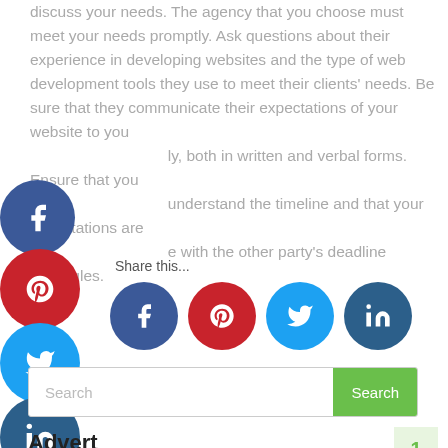discuss your needs. The agency that you choose must meet your needs promptly. Ask questions about their experience in developing websites and the type of web development tools they use to meet their clients' needs. Be sure that they communicate their expectations of your website to you ly, both in written and verbal forms. Ensure that you understand the timeline and that your expectations are e with the other party's deadline schedules.
[Figure (infographic): Social media share buttons: Facebook (dark blue circle with f), Pinterest (red circle with p), Twitter (light blue circle with bird), LinkedIn (dark blue circle with in) — sticky on left side; inline share buttons row: Facebook, Pinterest, Twitter, LinkedIn circles; Share this... label]
Share this...
Search
Advert